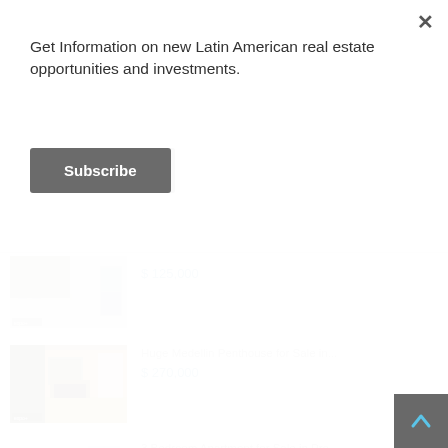Get Information on new Latin American real estate opportunities and investments.
Subscribe
$ 125,000
Huge Medellin Penthouse for Sale in...
$ 270,000
3 Bedroom Apartment for Sale in Pro...
$ 235,000
Colombia Farm Investment Timber Cat...
$ 25,000 Minimum Investment